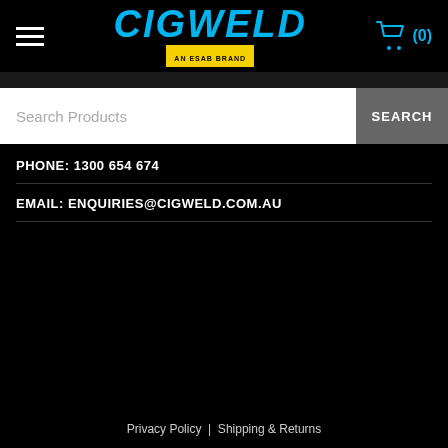[Figure (logo): CIGWELD logo in blue italic bold text with yellow ESAB brand bar below]
[Figure (other): Shopping cart icon in blue with (0) count]
Search Products
SEARCH
PHONE: 1300 654 674
EMAIL: ENQUIRIES@CIGWELD.COM.AU
Privacy Policy | Shipping & Returns